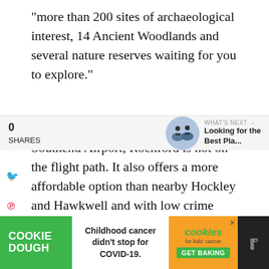“more than 200 sites of archaeological interest, 14 Ancient Woodlands and several nature reserves waiting for you to explore.”
Despite its proximity to London Southend Airport, Rochford is not on the flight path. It also offers a more affordable option than nearby Hockley and Hawkwell and with low crime rates and a small, family-friendly community, what’s not to love?
0
SHARES
[Figure (screenshot): What's Next thumbnail showing two people on bicycles]
WHAT’S NEXT →
Looking for the Best Pla...
[Figure (infographic): Advertisement banner: Cookie Dough brand - Childhood cancer didn't stop for COVID-19. Cookies for kids' cancer - GET BAKING]